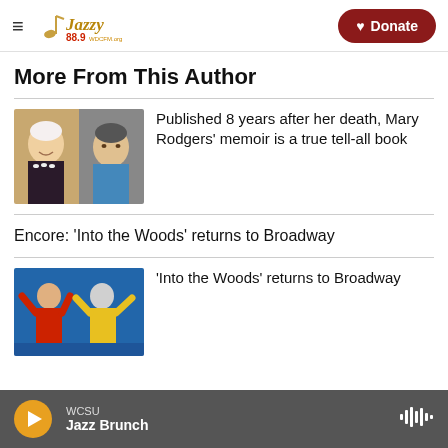Jazzy 88.9 WDCFM.org | Donate
More From This Author
[Figure (photo): Two side-by-side headshots: a smiling older woman with white hair and pearls, and a man with salt-and-pepper hair]
Published 8 years after her death, Mary Rodgers' memoir is a true tell-all book
Encore: 'Into the Woods' returns to Broadway
[Figure (photo): Stage performers in colorful costumes with arms raised against a blue backdrop]
'Into the Woods' returns to Broadway
WCSU Jazz Brunch